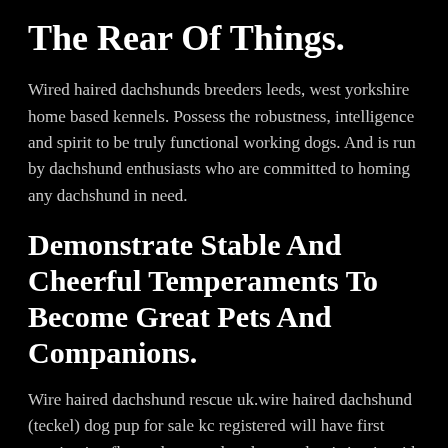The Rear Of Things.
Wired haired dachshunds breeders leeds, west yorkshire home based kennels. Possess the robustness, intelligence and spirit to be truly functional working dogs. And is run by dachshund enthusiasts who are committed to homing any dachshund in need.
Demonstrate Stable And Cheerful Temperaments To Become Great Pets And Companions.
Wire haired dachshund rescue uk.wire haired dachshund (teckel) dog pup for sale kc registered will have first vaccination flea and wormed to date mother is in pic with him have also genetics father dachshunds